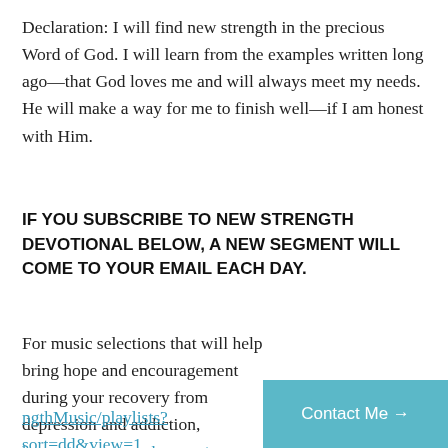Declaration: I will find new strength in the precious Word of God. I will learn from the examples written long ago—that God loves me and will always meet my needs. He will make a way for me to finish well—if I am honest with Him.
IF YOU SUBSCRIBE TO NEW STRENGTH DEVOTIONAL BELOW, A NEW SEGMENT WILL COME TO YOUR EMAIL EACH DAY.
For music selections that will help bring hope and encouragement during your recovery from depression and addiction, https://www.youtube.com/ngthMusic/playlists?sort=dd&view=1